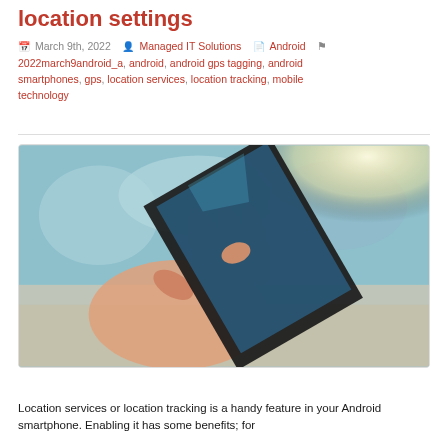location settings
March 9th, 2022  Managed IT Solutions  Android  2022march9android_a, android, android gps tagging, android smartphones, gps, location services, location tracking, mobile technology
[Figure (photo): A hand holding a black Android smartphone, finger touching the screen, blurred outdoor background with blue-green and beige tones, sunlight flare in upper right corner.]
Location services or location tracking is a handy feature in your Android smartphone. Enabling it has some benefits; for